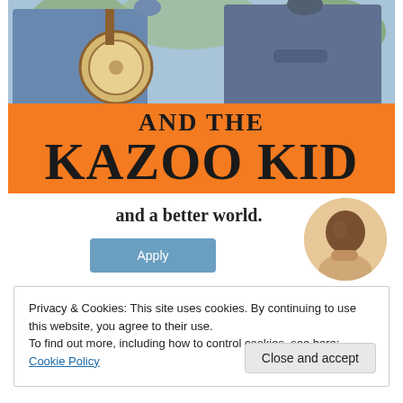[Figure (photo): Promotional poster with orange background. Top portion shows two men — one playing a banjo in a blue shirt, one in a grey hoodie with arms crossed — photographed outdoors. Below the photo is orange text reading 'AND THE' then 'KAZOO KID' in large bold serif font.]
and a better world.
[Figure (photo): Circular avatar/portrait of a Black man in a light-colored top, appearing to think or reflect, photographed in a studio setting.]
Privacy & Cookies: This site uses cookies. By continuing to use this website, you agree to their use.
To find out more, including how to control cookies, see here: Cookie Policy
Close and accept